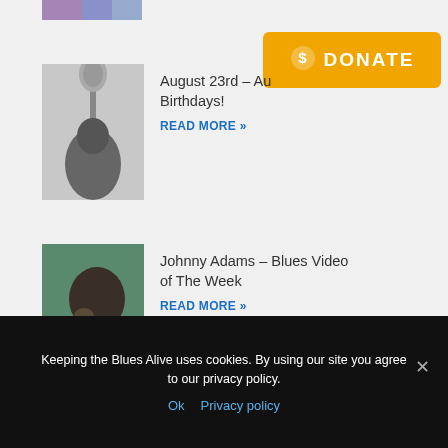[Figure (photo): Partial top strip of an image, partially cropped at top of page]
[Figure (other): Orange donate button with dollar sign icon and text DONATE]
[Figure (photo): Black and white photo of a musician at a microphone]
August 23rd – Au Birthdays!
READ MORE »
[Figure (photo): Color photo of a person in a teal/green garment, close-up profile view]
Johnny Adams – Blues Video of The Week
READ MORE »
Facebook
Keeping the Blues Alive uses cookies. By using our site you agree to our privacy policy.
Ok  Privacy policy